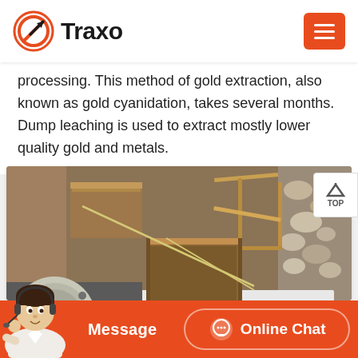Traxo
processing. This method of gold extraction, also known as gold cyanidation, takes several months. Dump leaching is used to extract mostly lower quality gold and metals.
[Figure (photo): Photograph of gold mining equipment including wooden sluice boxes, rock/ore material, and industrial machinery (pump/motor assembly) used in gold processing operations.]
Message | Online Chat